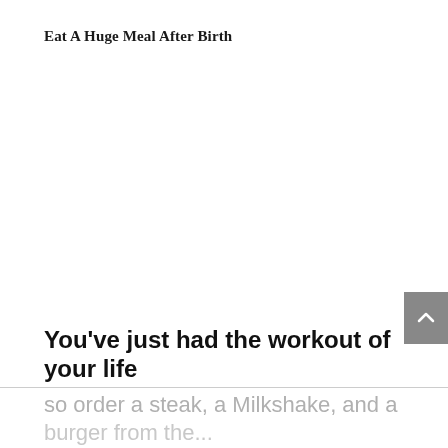Eat A Huge Meal After Birth
You've just had the workout of your life
so order a steak, a Milkshake, and a